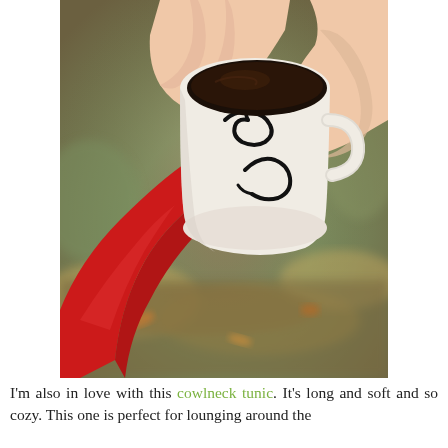[Figure (photo): A person wearing a red long-sleeve top holding a white coffee mug with black decorative swirl design, filled with dark coffee/tea. The background is blurred outdoor autumn foliage.]
I'm also in love with this cowlneck tunic. It's long and soft and so cozy. This one is perfect for lounging around the